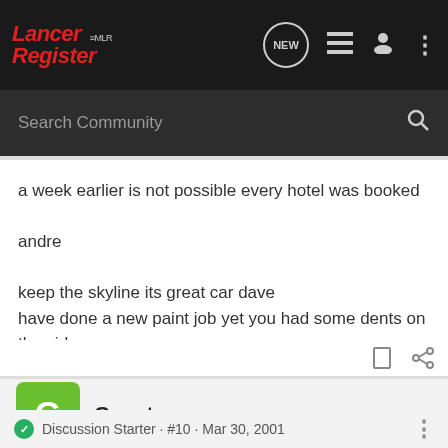Lancer Register MLR — navigation bar with search
a week earlier is not possible every hotel was booked

andre

keep the skyline its great car dave
have done a new paint job yet you had some dents on the side
Guest ·
Discussion Starter · #10 · Mar 30, 2001